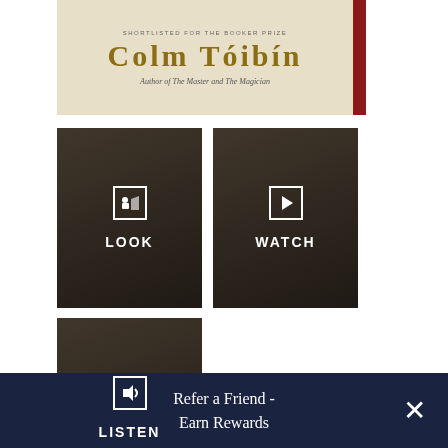[Figure (illustration): Book cover for a novel by Colm Tóibín, shortlisted for the Booker Prize. Author of The Master and The Magician. Beige/cream background with author name in gold serif font and a red vertical bar on the right edge.]
[Figure (screenshot): Dark-background media button labeled LOOK with an image icon (mountain/photo icon inside a white bordered square)]
[Figure (screenshot): Dark-background media button labeled WATCH with a play button icon (right-pointing triangle inside a white bordered square)]
[Figure (screenshot): Dark-background media button labeled LISTEN with a speaker/audio icon inside a white bordered square]
Brooklyn
Refer a Friend - Earn Rewards